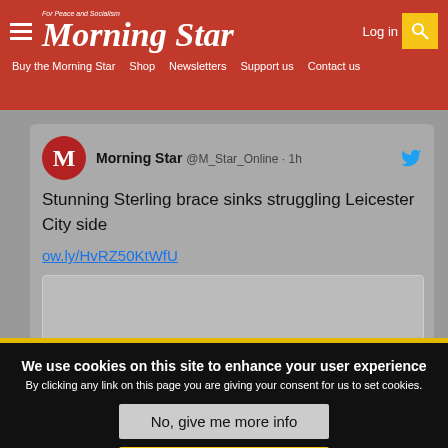Morning Star - For Peace and Socialism | Log in | Buy the Morning Star | Shop | Newsletters | Support us | Contact us
[Figure (screenshot): Embedded tweet from Morning Star @M_Star_Online showing text: 'Stunning Sterling brace sinks struggling Leicester City side' with link ow.ly/HvRZ50KtWfU and a partially visible image below]
We use cookies on this site to enhance your user experience
By clicking any link on this page you are giving your consent for us to set cookies.
No, give me more info
OK, I agree